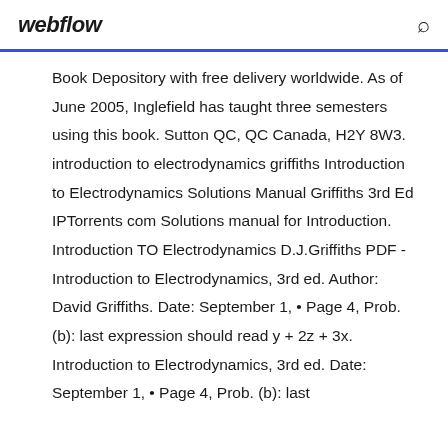webflow
Book Depository with free delivery worldwide. As of June 2005, Inglefield has taught three semesters using this book. Sutton QC, QC Canada, H2Y 8W3. introduction to electrodynamics griffiths Introduction to Electrodynamics Solutions Manual Griffiths 3rd Ed IPTorrents com Solutions manual for Introduction. Introduction TO Electrodynamics D.J.Griffiths PDF - Introduction to Electrodynamics, 3rd ed. Author: David Griffiths. Date: September 1, • Page 4, Prob. (b): last expression should read y + 2z + 3x. Introduction to Electrodynamics, 3rd ed. Date: September 1, • Page 4, Prob. (b): last